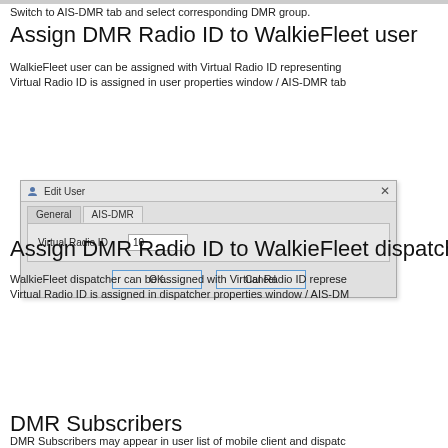Switch to AIS-DMR tab and select corresponding DMR group.
Assign DMR Radio ID to WalkieFleet user
WalkieFleet user can be assigned with Virtual Radio ID representing
Virtual Radio ID is assigned in user properties window / AIS-DMR tab
[Figure (screenshot): Edit User dialog with AIS-DMR tab selected, showing Virtual Radio ID field with value 10, and OK/Cancel buttons]
Assign DMR Radio ID to WalkieFleet dispatcher
WalkieFleet dispatcher can be assigned with Virtual Radio ID represe
Virtual Radio ID is assigned in dispatcher properties window / AIS-DM
[Figure (screenshot): Edit Dispatcher dialog with AIS-DMR tab selected, showing Virtual Radio ID field with value 5, and OK/Cancel buttons]
DMR Subscribers
DMR Subscribers may appear in user list of mobile client and dispatc